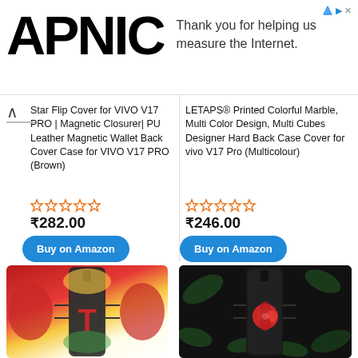[Figure (screenshot): APNIC logo and ad banner saying 'Thank you for helping us measure the Internet.']
Star Flip Cover for VIVO V17 PRO | Magnetic Closurer| PU Leather Magnetic Wallet Back Cover Case for VIVO V17 PRO (Brown)
₹282.00
Buy on Amazon
LETAPS® Printed Colorful Marble, Multi Color Design, Multi Cubes Designer Hard Back Case Cover for vivo V17 Pro (Multicolour)
₹246.00
Buy on Amazon
[Figure (photo): Phone case with red paisley/floral design and letter T]
[Figure (photo): Phone case with red rose on dark leafy background]